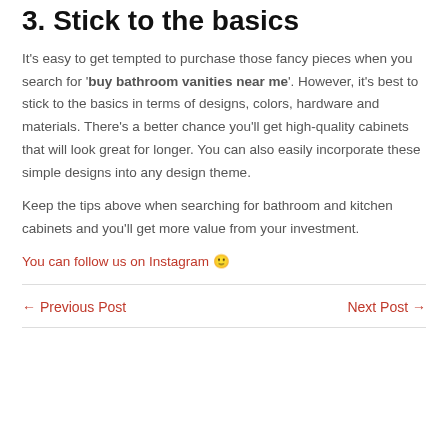3. Stick to the basics
It's easy to get tempted to purchase those fancy pieces when you search for 'buy bathroom vanities near me'. However, it's best to stick to the basics in terms of designs, colors, hardware and materials. There's a better chance you'll get high-quality cabinets that will look great for longer. You can also easily incorporate these simple designs into any design theme.
Keep the tips above when searching for bathroom and kitchen cabinets and you'll get more value from your investment.
You can follow us on Instagram 🙂
← Previous Post   Next Post →